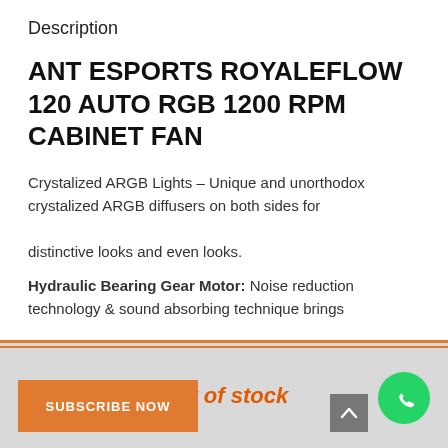Description
ANT ESPORTS ROYALEFLOW 120 AUTO RGB 1200 RPM CABINET FAN
Crystalized ARGB Lights – Unique and unorthodox crystalized ARGB diffusers on both sides for distinctive looks and even looks.
Hydraulic Bearing Gear Motor: Noise reduction technology & sound absorbing technique brings down the noise to provide you a quiet working
Out of stock
SUBSCRIBE NOW